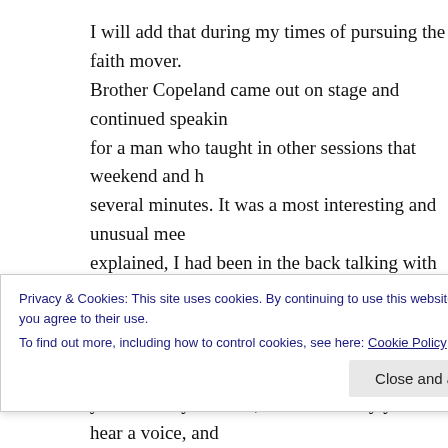I will add that during my times of pursuing the faith mover. Brother Copeland came out on stage and continued speakin for a man who taught in other sessions that weekend and h several minutes. It was a most interesting and unusual mee explained, I had been in the back talking with God in my sp When I came out here on stage, I simply did not want to lea worked it out beautifully as Jerry Savelle, taught this porti and in time handed it back to Kenneth. Kenneth explained and did not take over his body, he said, I merely did not wa You see, it is our choice to let God envelop us in the presen
I can just about guarantee that the disciples figured out tha moment John realized that those conversations that John h
Privacy & Cookies: This site uses cookies. By continuing to use this website, you agree to their use.
To find out more, including how to control cookies, see here: Cookie Policy
yourself very focused, when suddenly you hear a voice, and